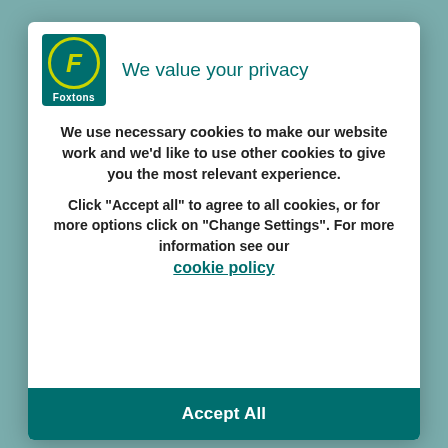[Figure (logo): Foxtons real estate logo: teal/green square with yellow-outlined circle containing italic F, and 'Foxtons' text below in white]
We value your privacy
We use necessary cookies to make our website work and we'd like to use other cookies to give you the most relevant experience.
Click “Accept all” to agree to all cookies, or for more options click on “Change Settings”. For more information see our cookie policy
Accept All